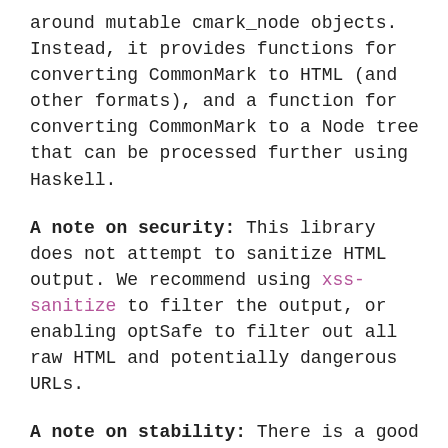around mutable cmark_node objects. Instead, it provides functions for converting CommonMark to HTML (and other formats), and a function for converting CommonMark to a Node tree that can be processed further using Haskell.
A note on security: This library does not attempt to sanitize HTML output. We recommend using xss-sanitize to filter the output, or enabling optSafe to filter out all raw HTML and potentially dangerous URLs.
A note on stability: There is a good chance the API will change significantly after this early release.